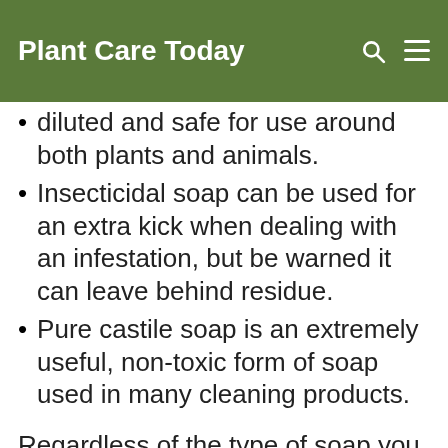Plant Care Today
diluted and safe for use around both plants and animals.
Insecticidal soap can be used for an extra kick when dealing with an infestation, but be warned it can leave behind residue.
Pure castile soap is an extremely useful, non-toxic form of soap used in many cleaning products.
Regardless of the type of soap you use, you will need to mix it in at a ratio of ⅓ to 1 teaspoon per quart, or 1 to 2 teaspoons per gallon (the exact amount